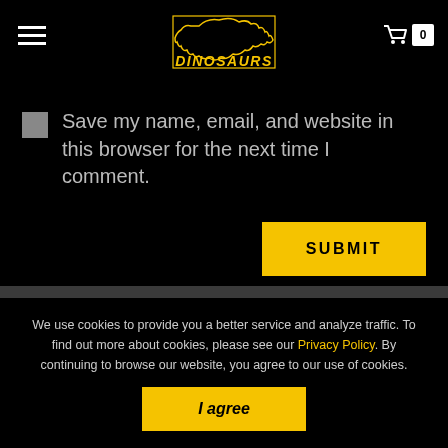DINOSAURS
Save my name, email, and website in this browser for the next time I comment.
SUBMIT
We use cookies to provide you a better service and analyze traffic. To find out more about cookies, please see our Privacy Policy. By continuing to browse our website, you agree to our use of cookies.
I agree